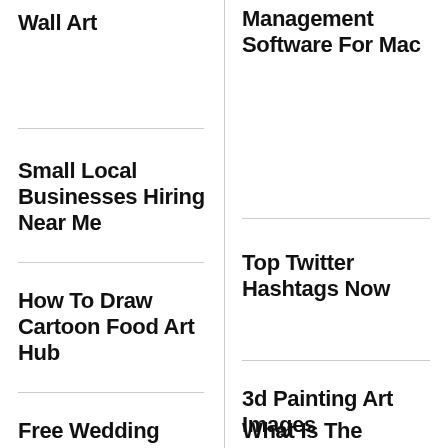Wall Art
Management Software For Mac
Small Local Businesses Hiring Near Me
Top Twitter Hashtags Now
How To Draw Cartoon Food Art Hub
3d Painting Art Images
Free Wedding
What Is The Importance